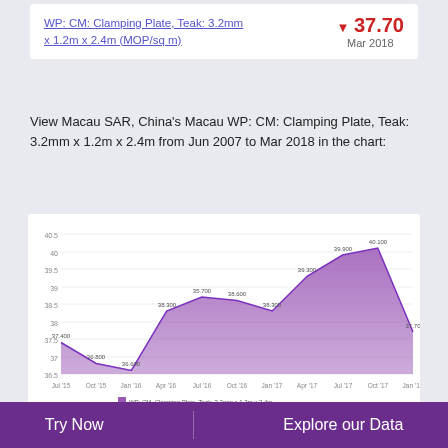WP: CM: Clamping Plate, Teak: 3.2mm x 1.2m x 2.4m (MOP/sq m) ▼ 37.70 Mar 2018
View Macau SAR, China's Macau WP: CM: Clamping Plate, Teak: 3.2mm x 1.2m x 2.4m from Jun 2007 to Mar 2018 in the chart:
[Figure (line-chart): WP: CM: Clamping Plate, Teak: 3.2mm x 1.2m x 2.4m]
Macau WP: CM: Clamping
Try Now    Explore our Data